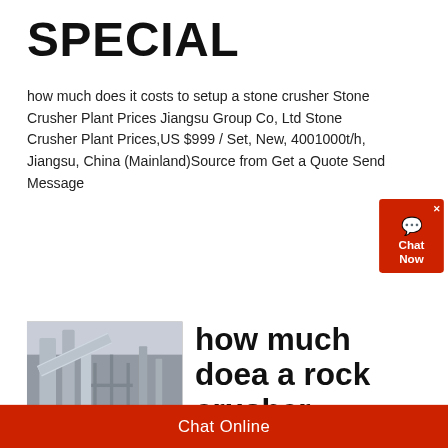SPECIAL
how much does it costs to setup a stone crusher Stone Crusher Plant Prices Jiangsu Group Co, Ltd Stone Crusher Plant Prices,US $999 / Set, New, 4001000t/h, Jiangsu, China (Mainland)Source from Get a Quote Send Message
[Figure (photo): Industrial stone crusher plant with large pipes and scaffolding]
how much doea a rock crusher cost
Aug 04, 2020  How Much Does A Fae Mth Stone Crusher Cost How Much Do Jaw Crushers Cost Adrian Kukla how much do jaw crushers costHow much does a crusher cost How much is the Jaw
Chat Online